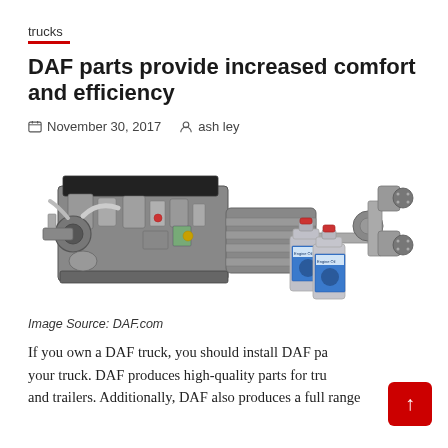trucks
DAF parts provide increased comfort and efficiency
November 30, 2017   ash ley
[Figure (photo): DAF truck engine, drivetrain, axle components and two Engine Oil bottles displayed together on white background]
Image Source: DAF.com
If you own a DAF truck, you should install DAF parts for your truck. DAF produces high-quality parts for trucks and trailers. Additionally, DAF also produces a full range